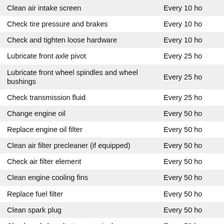| Task | Frequency |
| --- | --- |
| Clean air intake screen | Every 10 ho… |
| Check tire pressure and brakes | Every 10 ho… |
| Check and tighten loose hardware | Every 10 ho… |
| Lubricate front axle pivot | Every 25 ho… |
| Lubricate front wheel spindles and wheel bushings | Every 25 ho… |
| Check transmission fluid | Every 25 ho… |
| Change engine oil | Every 50 ho… |
| Replace engine oil filter | Every 50 ho… |
| Clean air filter precleaner (if equipped) | Every 50 ho… |
| Check air filter element | Every 50 ho… |
| Clean engine cooling fins | Every 50 ho… |
| Replace fuel filter | Every 50 ho… |
| Clean spark plug | Every 50 ho… |
| Check and clean battery terminals | Every 50 ho… |
| Sharpen or replace mower blades | Every 50 ho… |
| Check and adjust mower drive belt | Every 50 ho… |
| Clean mower deck | Every 50 ho… |
| Check and level mower deck | Every 50 ho… |
| Lubricate mower pivot points | Every 50 ho… |
| Replace spark plug | Every 100 h… |